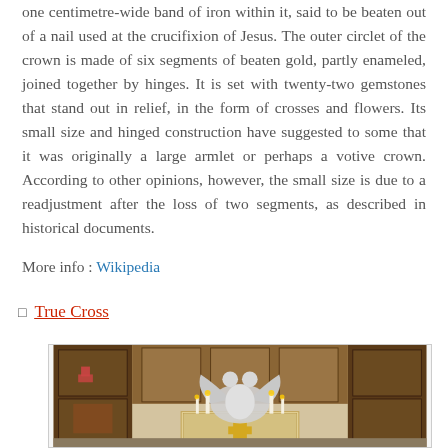one centimetre-wide band of iron within it, said to be beaten out of a nail used at the crucifixion of Jesus. The outer circlet of the crown is made of six segments of beaten gold, partly enameled, joined together by hinges. It is set with twenty-two gemstones that stand out in relief, in the form of crosses and flowers. Its small size and hinged construction have suggested to some that it was originally a large armlet or perhaps a votive crown. According to other opinions, however, the small size is due to a readjustment after the loss of two segments, as described in historical documents.
More info : Wikipedia
□ True Cross
[Figure (photo): Interior of a church or chapel showing an ornate silver reliquary or altar piece with a double-headed eagle design, surrounded by candles, with dark wooden panels and iconostasis in the background. A golden cross is visible at the base.]